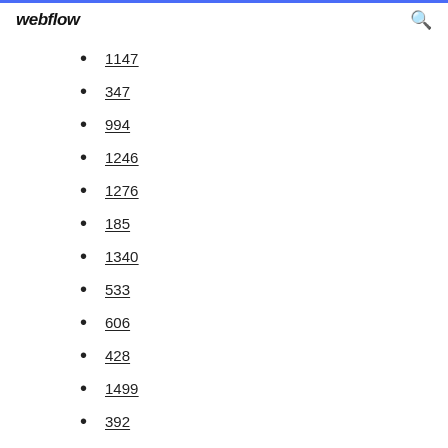webflow
1147
347
994
1246
1276
185
1340
533
606
428
1499
392